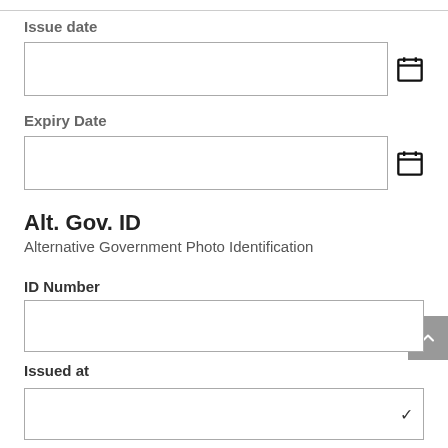Issue date
Expiry Date
Alt. Gov. ID
Alternative Government Photo Identification
ID Number
Issued at